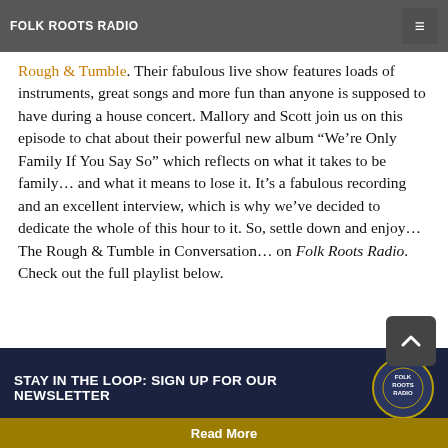FOLK ROOTS RADIO
instrumentalists Mallory Graham and Scott Tyler, and their self-styled 'teeny tiny travelling folk band', The Rough & Tumble. Their fabulous live show features loads of instruments, great songs and more fun than anyone is supposed to have during a house concert. Mallory and Scott join us on this episode to chat about their powerful new album “We’re Only Family If You Say So” which reflects on what it takes to be family… and what it means to lose it. It’s a fabulous recording and an excellent interview, which is why we’ve decided to dedicate the whole of this hour to it. So, settle down and enjoy… The Rough & Tumble in Conversation… on Folk Roots Radio. Check out the full playlist below.
[Figure (infographic): Dark blue banner with text: STAY IN THE LOOP: SIGN UP FOR OUR NEWSLETTER, with Folk Roots Radio circular logo on the right]
Read More